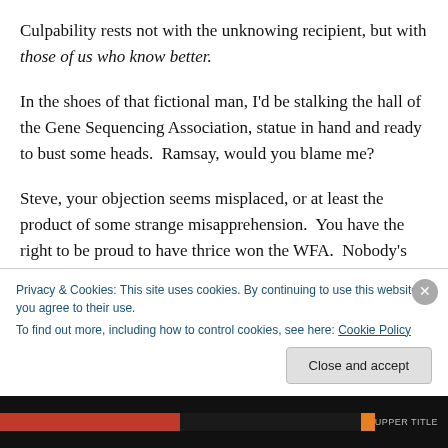Culpability rests not with the unknowing recipient, but with those of us who know better.
In the shoes of that fictional man, I'd be stalking the hall of the Gene Sequencing Association, statue in hand and ready to bust some heads.  Ramsay, would you blame me?
Steve, your objection seems misplaced, or at least the product of some strange misapprehension.  You have the right to be proud to have thrice won the WFA.  Nobody's
Privacy & Cookies: This site uses cookies. By continuing to use this website, you agree to their use.
To find out more, including how to control cookies, see here: Cookie Policy